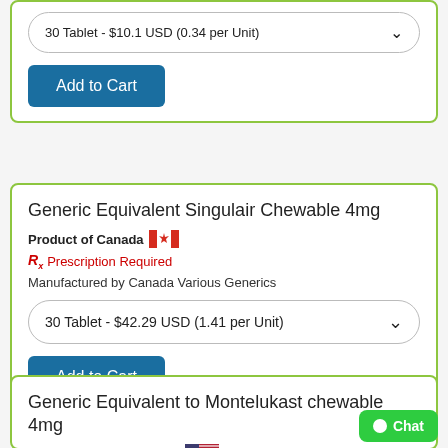30 Tablet - $10.1 USD (0.34 per Unit)
Add to Cart
Generic Equivalent Singulair Chewable 4mg
Product of Canada
Prescription Required
Manufactured by Canada Various Generics
30 Tablet - $42.29 USD (1.41 per Unit)
Add to Cart
Generic Equivalent to Montelukast chewable 4mg
Product of United States
Prescription Required